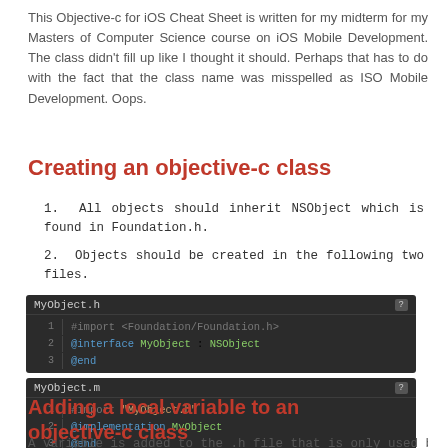This Objective-c for iOS Cheat Sheet is written for my midterm for my Masters of Computer Science course on iOS Mobile Development. The class didn't fill up like I thought it should. Perhaps that has to do with the fact that the class name was misspelled as ISO Mobile Development. Oops.
Creating an objective-c class
1. All objects should inherit NSObject which is found in Foundation.h.
2. Objects should be created in the following two files.
[Figure (screenshot): Code block showing MyObject.h file with lines: 1 #import <Foundation/Foundation.h>, 2 @interface MyObject : NSObject, 3 @end]
[Figure (screenshot): Code block showing MyObject.m file with lines: 1 #import "MyObject.h", 2 @implementation MyObject, 3 @end]
Adding a local variable to an objective-c class
A variable is added to the .h file that is only used by the